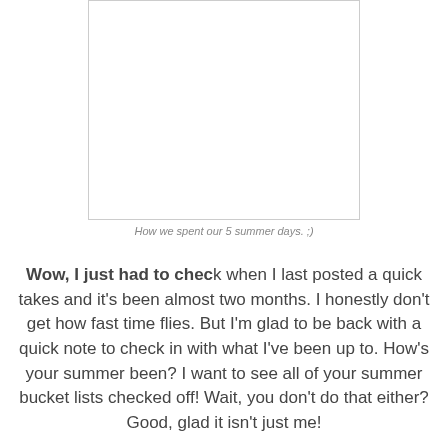[Figure (photo): White blank image box with gray border]
How we spent our 5 summer days. ;)
Wow, I just had to check when I last posted a quick takes and it's been almost two months. I honestly don't get how fast time flies. But I'm glad to be back with a quick note to check in with what I've been up to. How's your summer been? I want to see all of your summer bucket lists checked off! Wait, you don't do that either? Good, glad it isn't just me!